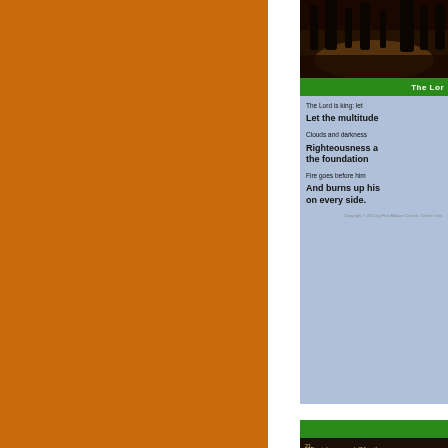[Figure (illustration): Large orange/burnt-orange solid color panel on the left side of the page]
[Figure (photo): Dark silhouette photo of trees against a sunset/dusk sky at the top right]
The Lor...
The Lord is king: let the multitude...
Clouds and darkness... Righteousness a... the foundation...
Fire goes before him... And burns up his... on every side.
[Figure (photo): Dark scene showing Daniel with yellow text overlay with Bible verse Daniel 6:21-22]